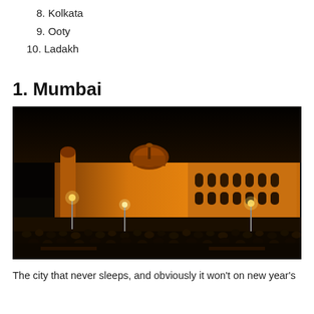8. Kolkata
9. Ooty
10. Ladakh
1. Mumbai
[Figure (photo): Night photograph of the Taj Mahal Palace Hotel in Mumbai with fireworks in the sky and a crowd of people in the foreground]
The city that never sleeps, and obviously it won't on new year's